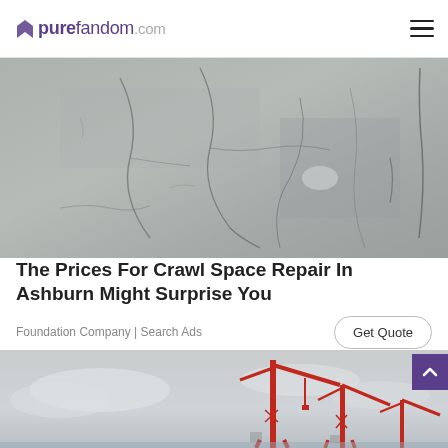purefandom.com
[Figure (photo): Close-up photo of a cracked concrete or cement wall surface with multiple cracks running through it]
The Prices For Crawl Space Repair In Ashburn Might Surprise You
Foundation Company | Search Ads
[Figure (photo): Photo of red industrial cranes at a port or harbor with cloudy sky in the background]